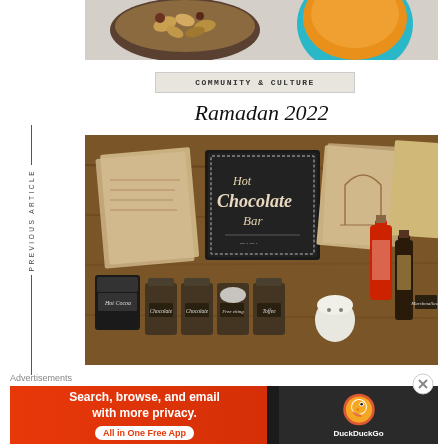[Figure (photo): Top portion of food photo showing nuts/almonds in a bowl and a bowl of orange dipping sauce on a light surface]
COMMUNITY & CULTURE
Ramadan 2022
[Figure (photo): A hot chocolate bar setup with a chalkboard sign reading 'Hot Chocolate Bar', various jars of toppings with chalkboard labels, syrup bottles, and decorative papers pinned to a wooden backdrop]
Advertisements
[Figure (infographic): DuckDuckGo advertisement banner: 'Search, browse, and email with more privacy. All in One Free App' with DuckDuckGo duck logo on dark right panel]